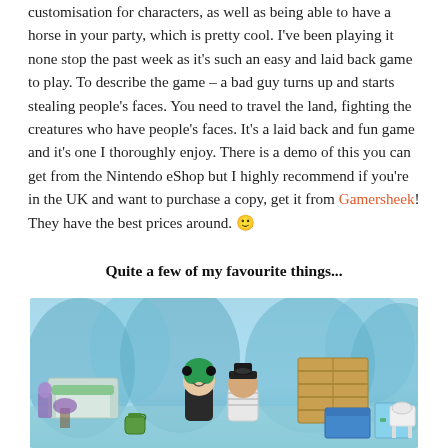customisation for characters, as well as being able to have a horse in your party, which is pretty cool. I've been playing it none stop the past week as it's such an easy and laid back game to play. To describe the game – a bad guy turns up and starts stealing people's faces. You need to travel the land, fighting the creatures who have people's faces. It's a laid back and fun game and it's one I thoroughly enjoy. There is a demo of this you can get from the Nintendo eShop but I highly recommend if you're in the UK and want to purchase a copy, get it from Gamersheek! They have the best prices around. 🙂
Quite a few of my favourite things...
[Figure (photo): Screenshot from Animal Crossing showing two cartoon characters standing outdoors in a blue forest setting with furniture items including a wicker sofa, wooden fence, blue storage box, and other decorative items.]